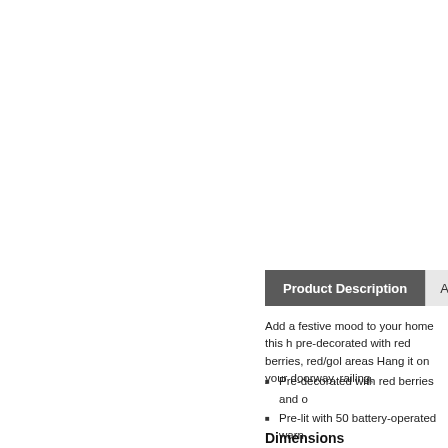Product Description | Addit
Add a festive mood to your home this h pre-decorated with red berries, red/gold areas Hang it on your doorway, railing,
Pre-decorated with red berries and o
Pre-lit with 50 battery-operated warm
Easy to shape and decorate with
Works on indoor and outdoor covere
Click here for more information on B
Dimensions